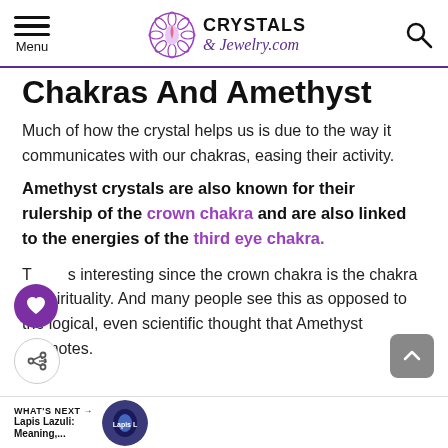CRYSTALS & Jewelry.com
Chakras And Amethyst
Much of how the crystal helps us is due to the way it communicates with our chakras, easing their activity.
Amethyst crystals are also known for their rulership of the crown chakra and are also linked to the energies of the third eye chakra.
This is interesting since the crown chakra is the chakra of spirituality. And many people see this as opposed to the logical, even scientific thought that Amethyst promotes.
WHAT'S NEXT → Lapis Lazuli: Meaning,...